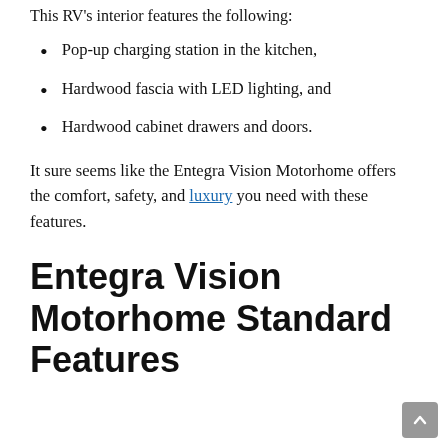This RV's interior features the following:
Pop-up charging station in the kitchen,
Hardwood fascia with LED lighting, and
Hardwood cabinet drawers and doors.
It sure seems like the Entegra Vision Motorhome offers the comfort, safety, and luxury you need with these features.
Entegra Vision Motorhome Standard Features